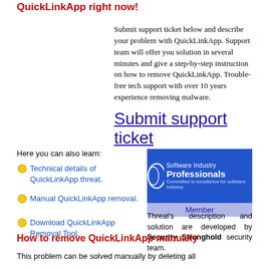QuickLinkApp right now!
Submit support ticket below and describe your problem with QuickLinkApp. Support team will offer you solution in several minutes and give a step-by-step instruction on how to remove QuickLinkApp. Trouble-free tech support with over 10 years experience removing malware.
Submit support ticket
Here you can also learn:
[Figure (logo): Software Industry Professionals Member badge/logo with blue background]
Threat's description and solution are developed by Security Stronghold security team.
Technical details of QuickLinkApp threat.
Manual QuickLinkApp removal.
Download QuickLinkApp Removal Tool.
How to remove QuickLinkApp manually
This problem can be solved manually by deleting all